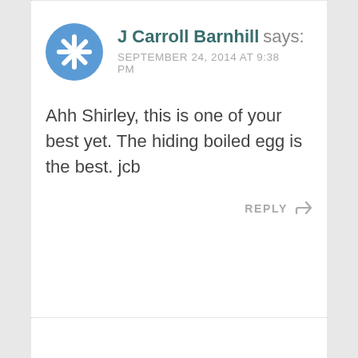[Figure (logo): Blue snowflake/asterisk avatar icon for user J Carroll Barnhill]
J Carroll Barnhill says:
SEPTEMBER 24, 2014 AT 9:38 PM
Ahh Shirley, this is one of your best yet. The hiding boiled egg is the best. jcb
REPLY